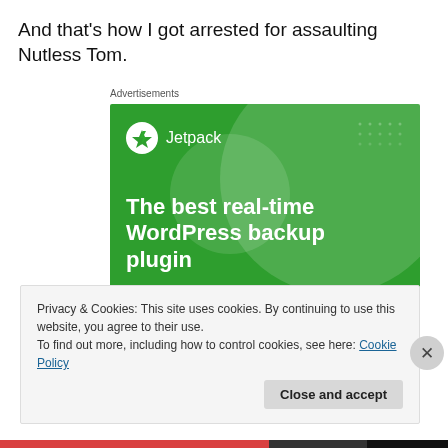And that's how I got arrested for assaulting Nutless Tom.
Advertisements
[Figure (illustration): Jetpack WordPress plugin advertisement. Green background with large decorative circle. Jetpack logo (lightning bolt icon) and name at top. Headline: 'The best real-time WordPress backup plugin'. White button reading 'Back up your site'.]
Privacy & Cookies: This site uses cookies. By continuing to use this website, you agree to their use.
To find out more, including how to control cookies, see here: Cookie Policy
Close and accept